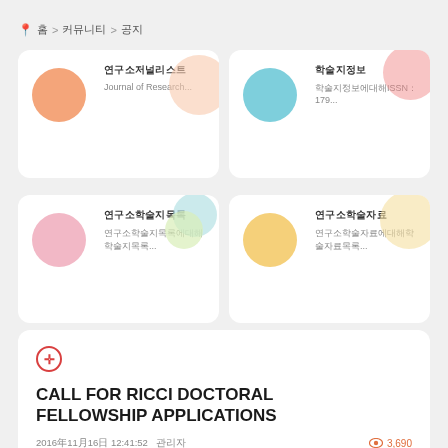홈 > 커뮤니티 > 공지
[Figure (screenshot): Four cards: 1) 연구소저널리스트 - Journal of Research... 2) 학술지정보 - 학술지정보에대해ISSN：179... 3) 연구소학술지목록 - truncated text... 4) 연구소학술자료 - truncated text]
CALL FOR RICCI DOCTORAL FELLOWSHIP APPLICATIONS
2016년11월16일 12:41:52 관리자
3,690
CALL FOR RICCI DOCTORAL FELLOWSHIP